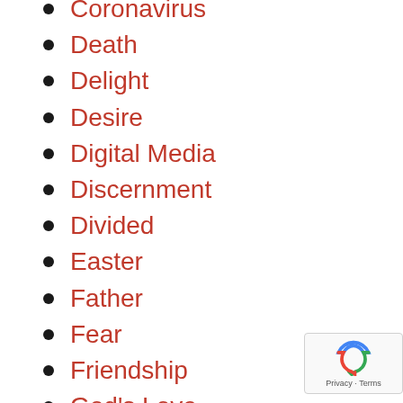Coronavirus
Death
Delight
Desire
Digital Media
Discernment
Divided
Easter
Father
Fear
Friendship
God's Love
Healing
Heaven
Heroic